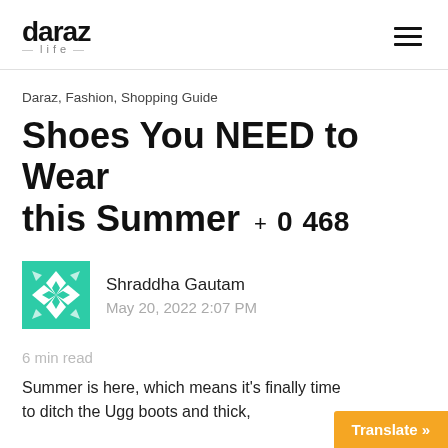daraz life
Daraz, Fashion, Shopping Guide
Shoes You NEED to Wear this Summer  + 0  468
Shraddha Gautam
May 20, 2022 2:07 PM
6 min read
Summer is here, which means it's finally time to ditch the Ugg boots and thick,